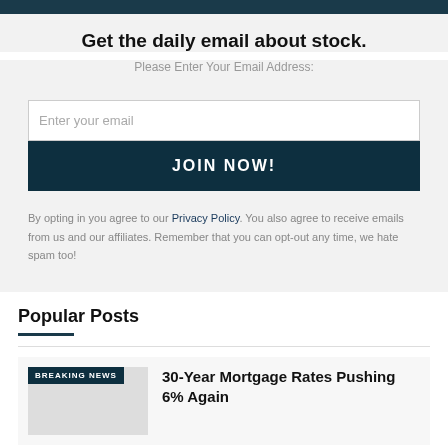Get the daily email about stock.
Please Enter Your Email Address:
Enter your email
JOIN NOW!
By opting in you agree to our Privacy Policy. You also agree to receive emails from us and our affiliates. Remember that you can opt-out any time, we hate spam too!
Popular Posts
30-Year Mortgage Rates Pushing 6% Again